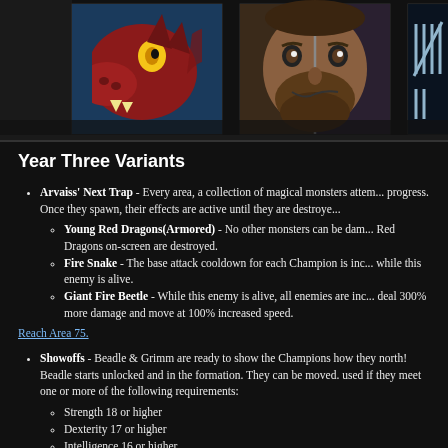[Figure (illustration): Banner showing three illustrated icons: a red dragon head, a bearded man's face split down the middle showing two expressions, and a tally marks / prison bars icon on dark background]
Year Three Variants
Arvaiss' Next Trap - Every area, a collection of magical monsters attempts to block your progress. Once they spawn, their effects are active until they are destroyed.
Young Red Dragons(Armored) - No other monsters can be damaged while Young Red Dragons on-screen are destroyed.
Fire Snake - The base attack cooldown for each Champion is increased while this enemy is alive.
Giant Fire Beetle - While this enemy is alive, all enemies are increased and deal 300% more damage and move at 100% increased speed.
Reach Area 75.
Showoffs - Beadle & Grimm are ready to show the Champions how they north! Beadle starts unlocked and in the formation. They can be moved. used if they meet one or more of the following requirements:
Strength 18 or higher
Dexterity 17 or higher
Intelligence 16 or higher.
Reach Area 125.
A Contest, You Say? - Beadle & Grimm have started some infighting on